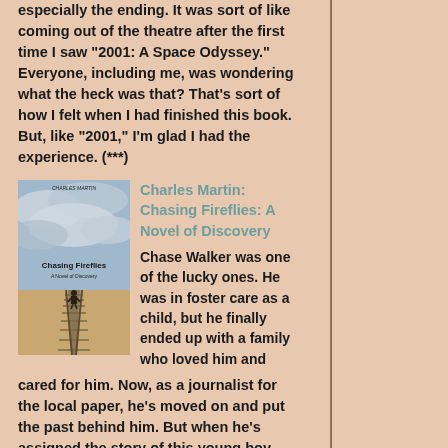especially the ending. It was sort of like coming out of the theatre after the first time I saw "2001: A Space Odyssey." Everyone, including me, was wondering what the heck was that? That's sort of how I felt when I had finished this book. But, like "2001," I'm glad I had the experience. (***)
[Figure (photo): Book cover of 'Chasing Fireflies' by Charles Martin showing a boy walking on railroad tracks into the distance under a dramatic sky]
Charles Martin: Chasing Fireflies: A Novel of Discovery
Chase Walker was one of the lucky ones. He was in foster care as a child, but he finally ended up with a family who loved him and cared for him. Now, as a journalist for the local paper, he's moved on and put the past behind him. But when he's assigned the story of this young boy, painful, haunting questions about his own childhood begin to rise to the surface. (***)